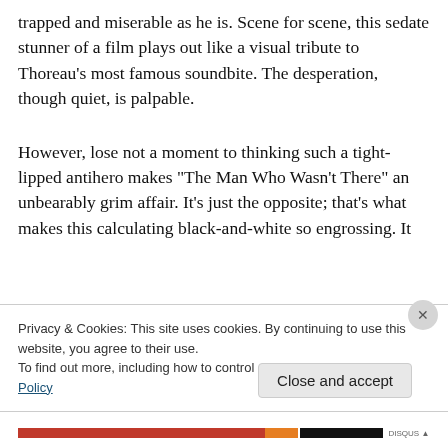trapped and miserable as he is. Scene for scene, this sedate stunner of a film plays out like a visual tribute to Thoreau's most famous soundbite. The desperation, though quiet, is palpable.
However, lose not a moment to thinking such a tight-lipped antihero makes “The Man Who Wasn’t There” an unbearably grim affair. It’s just the opposite; that’s what makes this calculating black-and-white so engrossing. It
Privacy & Cookies: This site uses cookies. By continuing to use this website, you agree to their use.
To find out more, including how to control cookies, see here: Cookie Policy
Close and accept